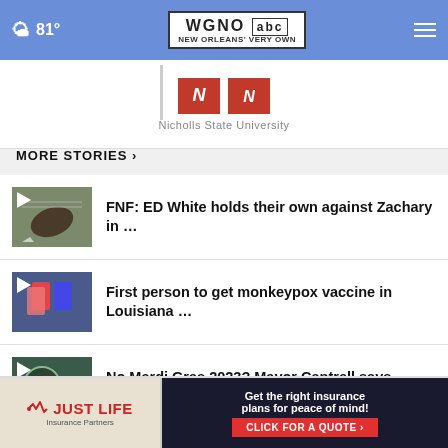81° | WGNO ABC New Orleans' Very Own
[Figure (logo): Nicholls State University logo with red N block letters]
Nicholls State University
MORE STORIES ›
FNF: ED White holds their own against Zachary in …
First person to get monkeypox vaccine in Louisiana …
No Mardi Gras 2023? Mayor Cantrell says dwindling …
Brett Favre's daughter Breleigh signs
[Figure (screenshot): Just Life Insurance Partners advertisement banner - Get the right insurance plans for peace of mind! Click for a quote]